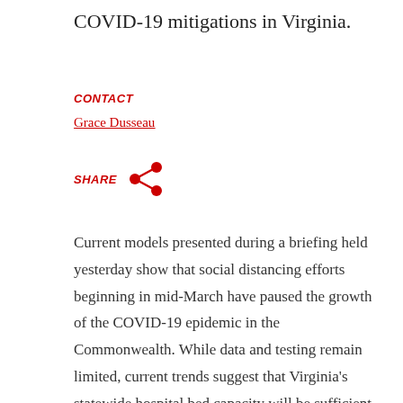COVID-19 mitigations in Virginia.
CONTACT
Grace Dusseau
[Figure (illustration): Share icon - red network share symbol]
Current models presented during a briefing held yesterday show that social distancing efforts beginning in mid-March have paused the growth of the COVID-19 epidemic in the Commonwealth. While data and testing remain limited, current trends suggest that Virginia's statewide hospital bed capacity will be sufficient in the immediate future.